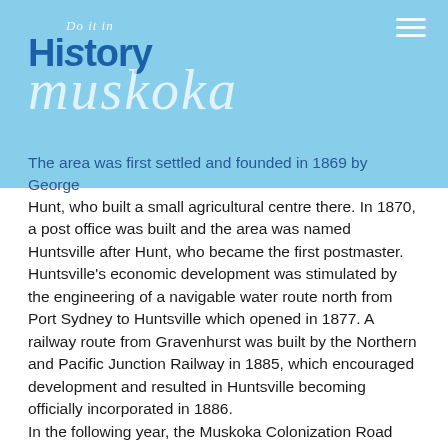[Figure (logo): History Muskoka logo with 'Do it in' tagline in script font on a light blue header background, with hamburger menu icon top right]
The area was first settled and founded in 1869 by George Hunt, who built a small agricultural centre there. In 1870, a post office was built and the area was named Huntsville after Hunt, who became the first postmaster. Huntsville's economic development was stimulated by the engineering of a navigable water route north from Port Sydney to Huntsville which opened in 1877. A railway route from Gravenhurst was built by the Northern and Pacific Junction Railway in 1885, which encouraged development and resulted in Huntsville becoming officially incorporated in 1886.
In the following year, the Muskoka Colonization Road reached this area. The central Ontario community became an important industrial area in the late 19th century and had several saw, planing and shingle mills, as well as a tannery. Today, the many lakes and hills in the area, combined with the town's proximity to both Algonquin Park and Toronto, make Huntsville and the Muskoka region a major tourist destination.